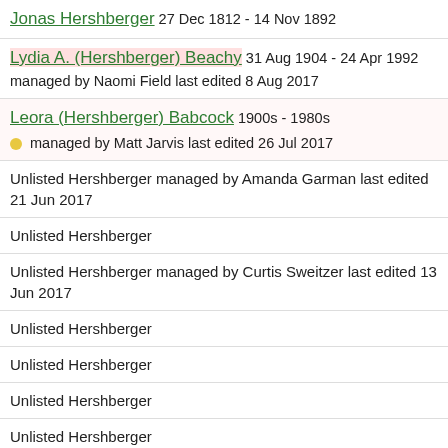Jonas Hershberger 27 Dec 1812 - 14 Nov 1892
Lydia A. (Hershberger) Beachy 31 Aug 1904 - 24 Apr 1992 managed by Naomi Field last edited 8 Aug 2017
Leora (Hershberger) Babcock 1900s - 1980s managed by Matt Jarvis last edited 26 Jul 2017
Unlisted Hershberger managed by Amanda Garman last edited 21 Jun 2017
Unlisted Hershberger
Unlisted Hershberger managed by Curtis Sweitzer last edited 13 Jun 2017
Unlisted Hershberger
Unlisted Hershberger
Unlisted Hershberger
Unlisted Hershberger
Unlisted Hershberger